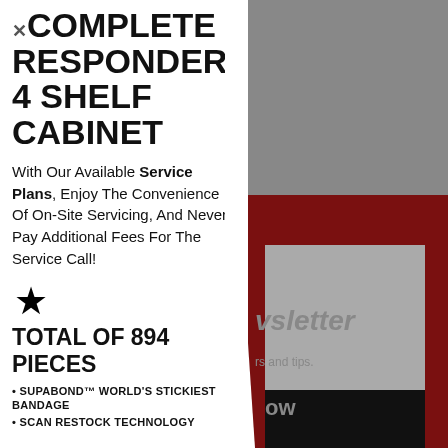COMPLETE RESPONDER 4 SHELF CABINET
With Our Available Service Plans, Enjoy The Convenience Of On-Site Servicing, And Never Pay Additional Fees For The Service Call!
[Figure (illustration): Star icon / rating symbol]
TOTAL OF 894 PIECES
SUPABOND™ WORLD'S STICKIEST BANDAGE
SCAN RESTOCK TECHNOLOGY
[Figure (screenshot): Right side overlay showing partial newsletter signup panel with dark red background, gray input box, black button with 'ow' text visible, and partial text 'vsletter' and 'rs and tips.']